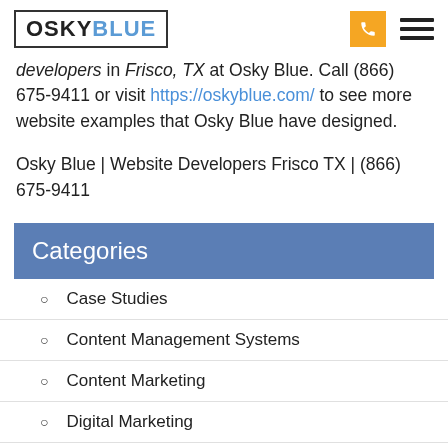OSKYBLUE
developers in Frisco, TX at Osky Blue. Call (866) 675-9411 or visit https://oskyblue.com/ to see more website examples that Osky Blue have designed.
Osky Blue | Website Developers Frisco TX | (866) 675-9411
Categories
Case Studies
Content Management Systems
Content Marketing
Digital Marketing
Email Marketing